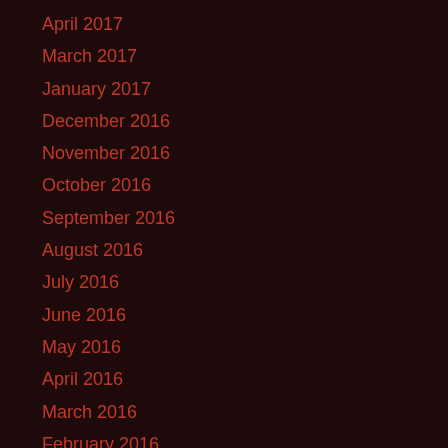April 2017
March 2017
January 2017
December 2016
November 2016
October 2016
September 2016
August 2016
July 2016
June 2016
May 2016
April 2016
March 2016
February 2016
January 2016